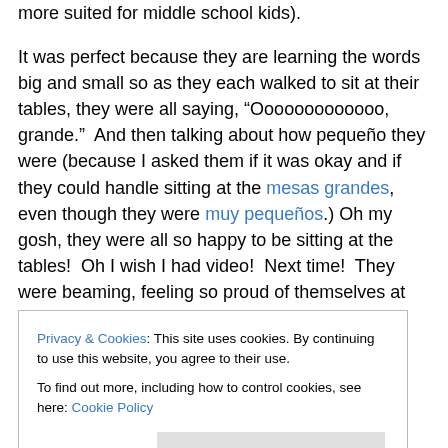more suited for middle school kids).
It was perfect because they are learning the words big and small so as they each walked to sit at their tables, they were all saying, “Oooooooooooo, grande.”  And then talking about how pequeño they were (because I asked them if it was okay and if they could handle sitting at the mesas grandes, even though they were muy pequeños.) Oh my gosh, they were all so happy to be sitting at the tables!  Oh I wish I had video!  Next time!  They were beaming, feeling so proud of themselves at the tables.  It
Privacy & Cookies: This site uses cookies. By continuing to use this website, you agree to their use.
To find out more, including how to control cookies, see here: Cookie Policy
sweet, innocent, innate happiness like my kindergarteners